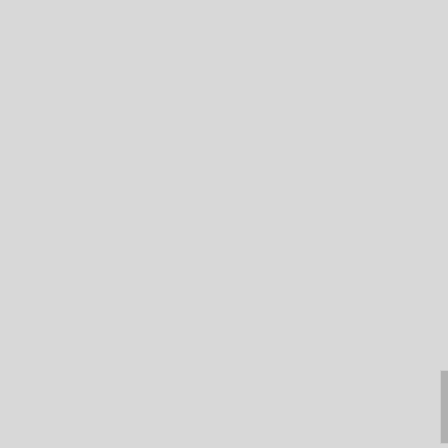state that this happen in. The same state that brought you the illegal alien in the white house. They register turds in illinois to vote!!!
Dondi Cook
June 12,